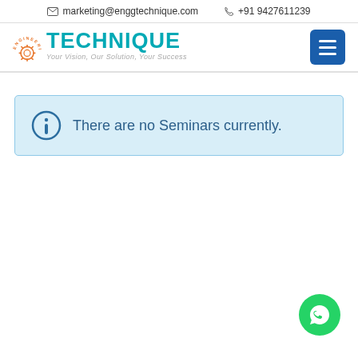✉ marketing@enggtechnique.com  ✆ +91 9427611239
[Figure (logo): Engineering Technique logo with orange arc text 'ENGINEERING', teal TECHNIQUE text, and tagline 'Your Vision, Our Solution, Your Success']
There are no Seminars currently.
[Figure (other): WhatsApp floating action button (green circle with phone/chat icon)]